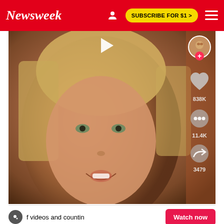Newsweek | SUBSCRIBE FOR $1 >
[Figure (screenshot): TikTok video screenshot showing a blonde woman's face close-up. TikTok sidebar shows heart icon with 838K likes, comment icon with 11.4K comments, share icon with 3479 shares, and a play button at top.]
f videos and counting... Watch now
@landenmewing
#greenscreen #storytime I was the victim of a hate crime 🥹 #DontSpillChalle... See more